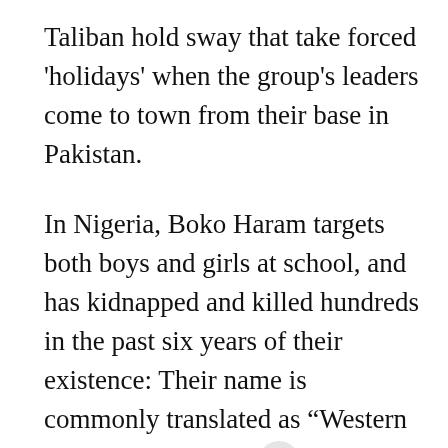Taliban hold sway that take forced 'holidays' when the group's leaders come to town from their base in Pakistan.
In Nigeria, Boko Haram targets both boys and girls at school, and has kidnapped and killed hundreds in the past six years of their existence: Their name is commonly translated as “Western education is a sin.”
But Afghanistan and Nigeria lag in development benchmarks behind